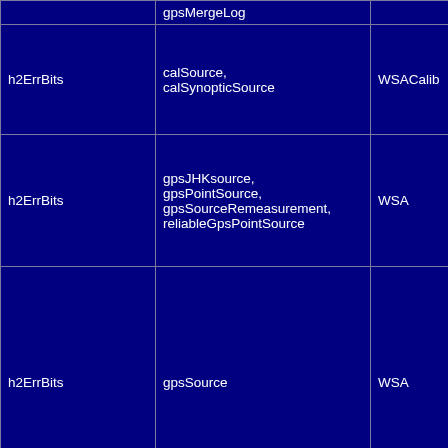| h2ErrBits | gpsMergeLog / calSource, calSynopticSource / gpsJHKsource, gpsPointSource, gpsSourceRemeasurement, reliableGpsPointSource / gpsSource | WSACalib / WSA / WSA | proce... / Appa apert / proce... / proce... This ... Bit Flag 1 2 4 8 16 32 64 128 |
| --- | --- | --- | --- |
|  | gpsMergeLog |  |  |
| h2ErrBits | calSource,
calSynopticSource | WSACalib | proce...
Appa apert |
| h2ErrBits | gpsJHKsource,
gpsPointSource,
gpsSourceRemeasurement,
reliableGpsPointSource | WSA | proce... |
| h2ErrBits | gpsSource | WSA | proce... This ... Bit Flag 1 2 4 8 16 32 64 128 |